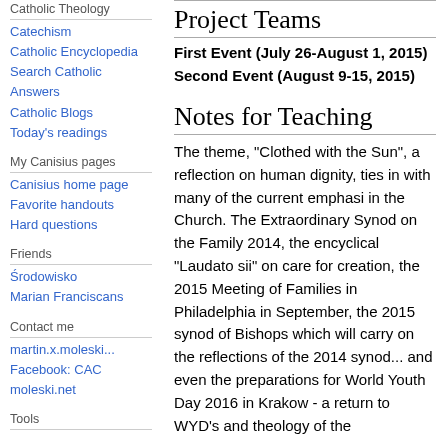Catholic Theology
Catechism
Catholic Encyclopedia
Search Catholic Answers
Catholic Blogs
Today's readings
My Canisius pages
Canisius home page
Favorite handouts
Hard questions
Friends
Środowisko
Marian Franciscans
Contact me
martin.x.moleski...
Facebook: CAC
moleski.net
Tools
Project Teams
First Event (July 26-August 1, 2015)
Second Event (August 9-15, 2015)
Notes for Teaching
The theme, "Clothed with the Sun", a reflection on human dignity, ties in with many of the current emphasi in the Church. The Extraordinary Synod on the Family 2014, the encyclical "Laudato sii" on care for creation, the 2015 Meeting of Families in Philadelphia in September, the 2015 synod of Bishops which will carry on the reflections of the 2014 synod... and even the preparations for World Youth Day 2016 in Krakow - a return to WYD's and theology of the